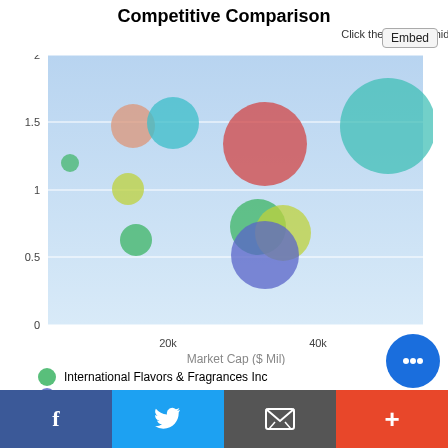Competitive Comparison
Click the legend to hide/display the companies
[Figure (bubble-chart): Bubble chart comparing companies by market cap (x-axis), a ratio metric (y-axis), and bubble size. Companies include International Flavors & Fragrances Inc, DuPont de Nemours Inc, PPG Industries Inc, Albemarle Corp, and others. X-axis ranges from 0 to ~50k, Y-axis from 0 to 2.]
International Flavors & Fragrances Inc
DuPont de Nemours Inc
PPG Industries Inc
Albemarle Corp